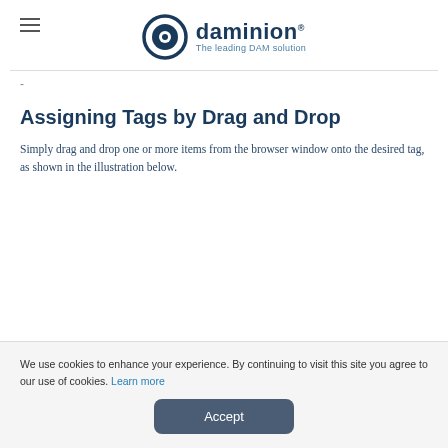daminion® — The leading DAM solution
-
Assigning Tags by Drag and Drop
Simply drag and drop one or more items from the browser window onto the desired tag, as shown in the illustration below.
We use cookies to enhance your experience. By continuing to visit this site you agree to our use of cookies. Learn more